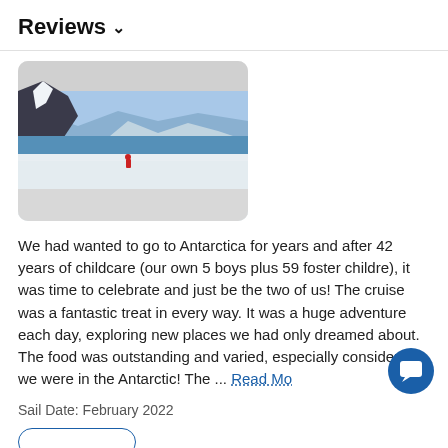Reviews ∨
[Figure (photo): Panoramic photo of Antarctica showing snow-covered mountains, a glacier, a lone figure in red, and blue ocean in the background. The image is inside a rounded light-gray card.]
We had wanted to go to Antarctica for years and after 42 years of childcare (our own 5 boys plus 59 foster childre), it was time to celebrate and just be the two of us! The cruise was a fantastic treat in every way. It was a huge adventure each day, exploring new places we had only dreamed about. The food was outstanding and varied, especially considering we were in the Antarctic! The ... Read More
Sail Date: February 2022